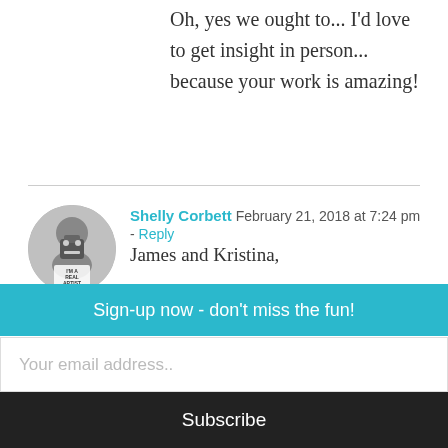Oh, yes we ought to... I'd love to get insight in person... because your work is amazing!
Shelly Corbett  February 21, 2018 at 7:24 pm  - Reply
James and Kristina,
I really enjoyed this interview. Its always interesting to hear about events from a different perspective. Kristina you continue to be an inspiration for me. M... our friendship be long and enjoyable.
Sign-up now - don't miss the fun!
Your email address..
Subscribe